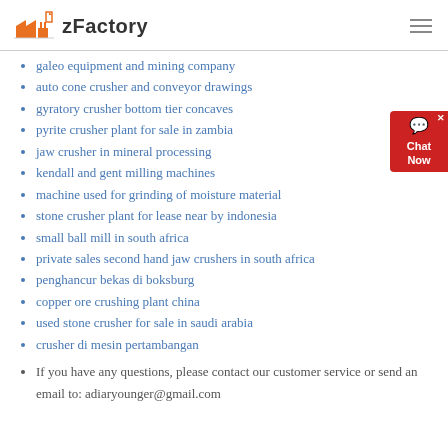zFactory
galeo equipment and mining company
auto cone crusher and conveyor drawings
gyratory crusher bottom tier concaves
pyrite crusher plant for sale in zambia
jaw crusher in mineral processing
kendall and gent milling machines
machine used for grinding of moisture material
stone crusher plant for lease near by indonesia
small ball mill in south africa
private sales second hand jaw crushers in south africa
penghancur bekas di boksburg
copper ore crushing plant china
used stone crusher for sale in saudi arabia
crusher di mesin pertambangan
If you have any questions, please contact our customer service or send an email to: adiaryounger@gmail.com